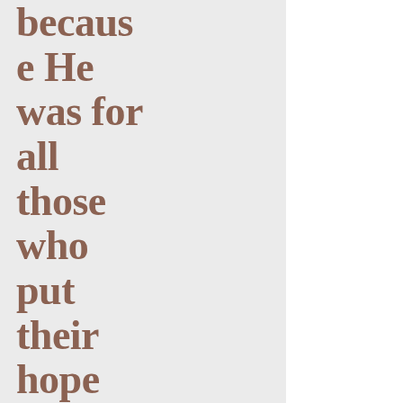because He was for all those who put their hope in Him an inexhaustible source of victory and salvati